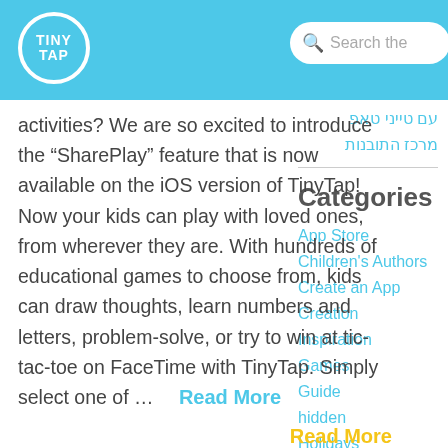TinyTap header with logo and search bar
activities? We are so excited to introduce the “SharePlay” feature that is now available on the iOS version of TinyTap!  Now your kids can play with loved ones, from wherever they are. With hundreds of educational games to choose from, kids can draw thoughts, learn numbers and letters, problem-solve, or try to win at tic-tac-toe on FaceTime with TinyTap. Simply select one of …
Read More
Read More
category: How To, New features, News
עם טייני טאפ
מרכז התובנות
Categories
App Store
Children's Authors
Create an App
Creation
Inspiration
Games
Guide
hidden
Holidays
How To
Jobs